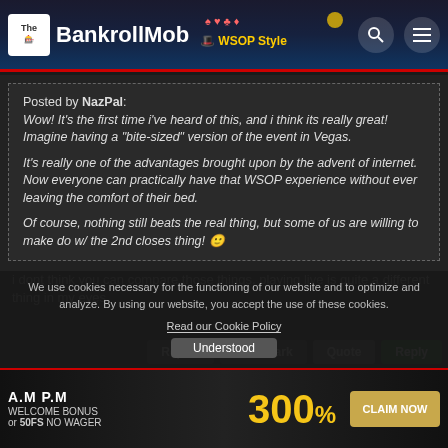[Figure (screenshot): BankrollMob website header with logo, search icon, and menu icon on dark blue gaming background]
Posted by NazPal:
Wow! It's the first time i've heard of this, and i think its really great! Imagine having a "bite-sized" version of the event in Vegas.

It's really one of the advantages brought upon by the advent of internet. Now everyone can practically have that WSOP experience without ever leaving the comfort of their bed.

Of course, nothing still beats the real thing, but some of us are willing to make do w/ the 2nd closes thing! 🙂
i dont think you can compare those things. playing live is quite a different thing in my eyes.
We use cookies necessary for the functioning of our website and to optimize and analyze. By using our website, you accept the use of these cookies.
Read our Cookie Policy
Understood
[Figure (illustration): A.M P.M casino banner ad with 300% Welcome Bonus or 50FS No Wager and CLAIM NOW button]